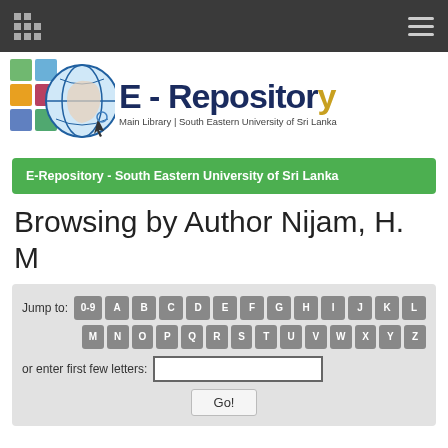E-Repository - Main Library | South Eastern University of Sri Lanka
[Figure (logo): E-Repository logo with colorful tiles icon, brain/globe illustration, and text 'E - Repository Main Library | South Eastern University of Sri Lanka']
E-Repository - South Eastern University of Sri Lanka
Browsing by Author Nijam, H. M
Jump to: 0-9 A B C D E F G H I J K L M N O P Q R S T U V W X Y Z or enter first few letters: [input] Go!